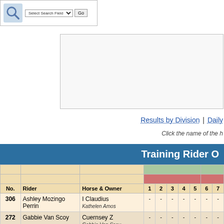[Figure (screenshot): Search bar UI with icon, Select Search Field dropdown, and Go button]
[Figure (other): Advertisement or content box, empty/blank area]
Results by Division | Daily
Click the name of the h
Training Rider O
| No. | Rider | Horse & Owner | 1 | 2 | 3 | 4 | 5 | 6 | 7 |
| --- | --- | --- | --- | --- | --- | --- | --- | --- | --- |
| 306 | Ashley Mozingo Perrin | I Claudius
Kathelen Amos | - | - | - | - | - | - | - |
| 272 | Gabbie Van Scoy | Cuernsey Z
Gabbie Van Scoy | - | - | - | - | - | - | - |
| 301 | Emily Coulter | Artibella | - | - | - | - | - | - | - |